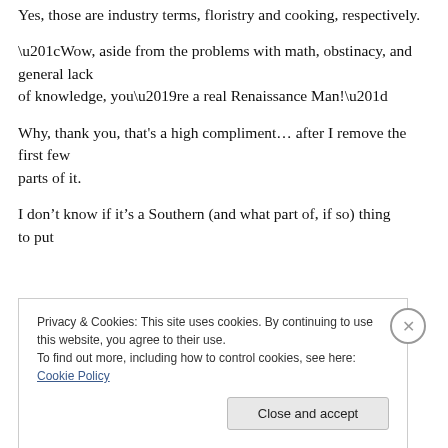Yes, those are industry terms, floristry and cooking, respectively.
“Wow, aside from the problems with math, obstinacy, and general lack of knowledge, you’re a real Renaissance Man!”
Why, thank you, that’s a high compliment… after I remove the first few parts of it.
I don’t know if it’s a Southern (and what part of, if so) thing to put
Privacy & Cookies: This site uses cookies. By continuing to use this website, you agree to their use.
To find out more, including how to control cookies, see here: Cookie Policy
Close and accept